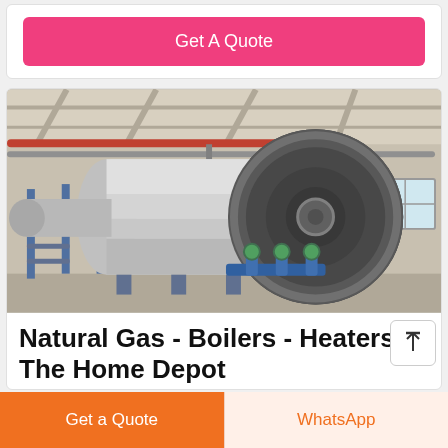Get A Quote
[Figure (photo): Large industrial natural gas boiler inside a factory building, cylindrical silver tank with blue metal framework and scaffolding, pipes running along ceiling, overhead lighting]
Natural Gas - Boilers - Heaters - The Home Depot
Get a Quote
WhatsApp